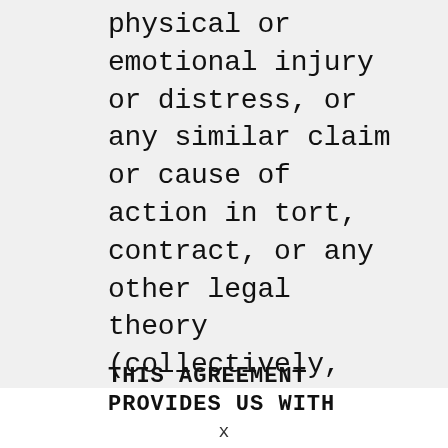physical or emotional injury or distress, or any similar claim or cause of action in tort, contract, or any other legal theory (collectively, “Claims”).
THIS AGREEMENT PROVIDES US WITH
x